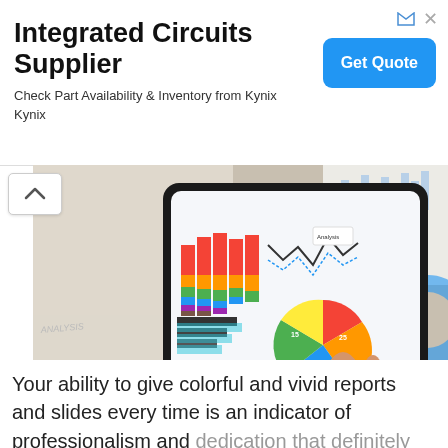[Figure (infographic): Advertisement banner for Integrated Circuits Supplier - Kynix, with title, subtitle, and Get Quote button]
Integrated Circuits Supplier
Check Part Availability & Inventory from Kynix Kynix
[Figure (photo): Person touching a tablet screen showing colorful business charts including bar charts, pie chart, and line chart, with printed analysis papers in the background]
Your ability to give colorful and vivid reports and slides every time is an indicator of professionalism and dedication that definitely helps in getting a salary...